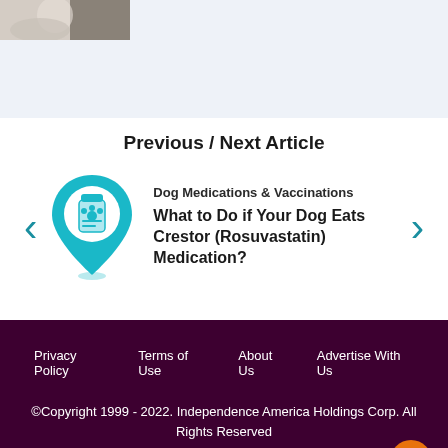[Figure (photo): Partial view of a dog photo in top-left corner]
Previous / Next Article
[Figure (illustration): Teal map pin icon with a medication bottle featuring a paw print]
Dog Medications & Vaccinations
What to Do if Your Dog Eats Crestor (Rosuvastatin) Medication?
Privacy Policy   Terms of Use   About Us   Advertise With Us
©Copyright 1999 - 2022. Independence America Holdings Corp. All Rights Reserved